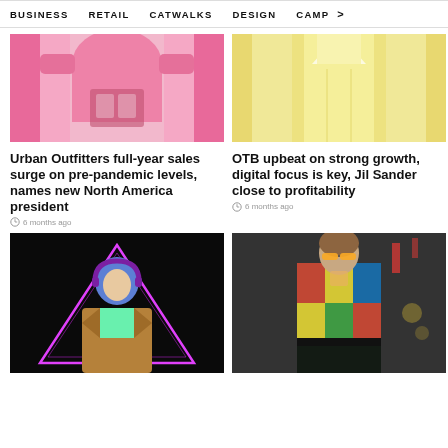BUSINESS   RETAIL   CATWALKS   DESIGN   CAMP   >
[Figure (photo): Model wearing a pink graphic t-shirt with pop art print]
Urban Outfitters full-year sales surge on pre-pandemic levels, names new North America president
6 months ago
[Figure (photo): Model in a yellow/cream long coat on catwalk]
OTB upbeat on strong growth, digital focus is key, Jil Sander close to profitability
6 months ago
[Figure (photo): Fashion model with blue hair and headphones, brown blazer, neon pink triangle background]
[Figure (photo): Model in colorful graphic print outfit with yellow sunglasses on catwalk]